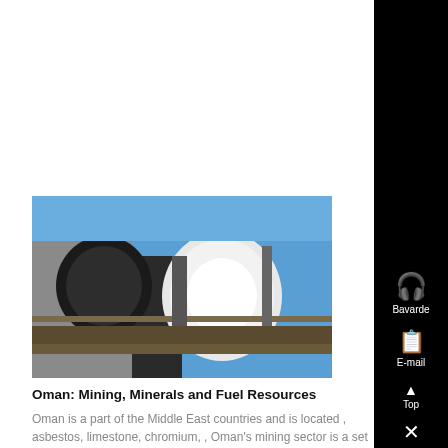[Figure (photo): Industrial equipment photo showing large cylindrical containers or industrial machinery against a blue sky, viewed from below]
Oman: Mining, Minerals and Fuel Resources
Oman is a part of the Middle East countries and is located , asbestos, limestone, chromium, , Oman's mining sector is a set to diversify and become ....